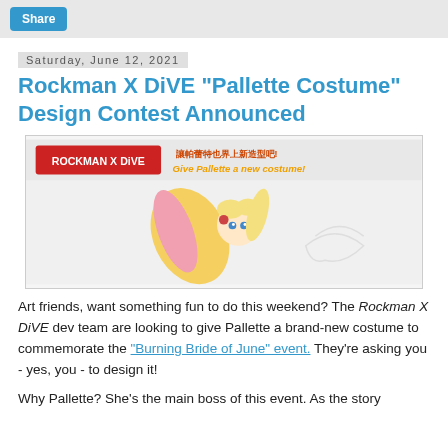Share
Saturday, June 12, 2021
Rockman X DiVE "Pallette Costume" Design Contest Announced
[Figure (illustration): Rockman X DiVE promotional banner showing Pallette character and text 'Give Pallette a new costume!']
Art friends, want something fun to do this weekend? The Rockman X DiVE dev team are looking to give Pallette a brand-new costume to commemorate the "Burning Bride of June" event. They're asking you - yes, you - to design it!
Why Pallette? She's the main boss of this event. As the story